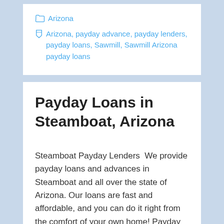Arizona
Arizona, payday advance, payday lenders, payday loans, Sawmill, Sawmill Arizona payday loans
Payday Loans in Steamboat, Arizona
Steamboat Payday Lenders  We provide payday loans and advances in Steamboat and all over the state of Arizona. Our loans are fast and affordable, and you can do it right from the comfort of your own home! Payday loans can … Read More »
Arizona